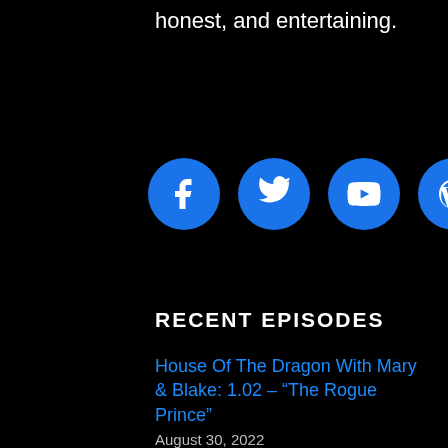honest, and entertaining.
[Figure (infographic): Four social media icon circles in blue: Facebook, Twitter, YouTube, WordPress]
RECENT EPISODES
House Of The Dragon With Mary & Blake: 1.02 – "The Rogue Prince"
August 30, 2022
The Last Kingdom With Mary & Blake: Episode 5.06
August 27, 2022
Bridgerton With Mary & Blake: 2.07 – "Harmony"